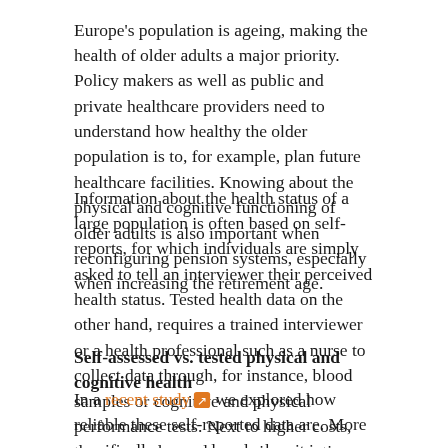Europe's population is ageing, making the health of older adults a major priority. Policy makers as well as public and private healthcare providers need to understand how healthy the older population is to, for example, plan future healthcare facilities. Knowing about the physical and cognitive functioning of older adults is also important when reconfiguring pension systems, especially when increasing the retirement age.
Information about the health status of a large population is often based on self-reports, for which individuals are simply asked to tell an interviewer their perceived health status. Tested health data on the other hand, requires a trained interviewer or a health professional such as a nurse to collect data through, for instance, blood samples or cognitive and physical performance tests. Next to higher costs, these procedures also require more time and effort than simple questionnaires, which is why self-reports are more readily available than performance tested health measures.
Self-assessed vs. tested physical and cognitive health
In a recent study [link] we explored how reliable these self-reported data are. More specifically, we analysed when it is feasible to use subjective health data to compare demographic groups and when, instead, we should rely on tested health information. To